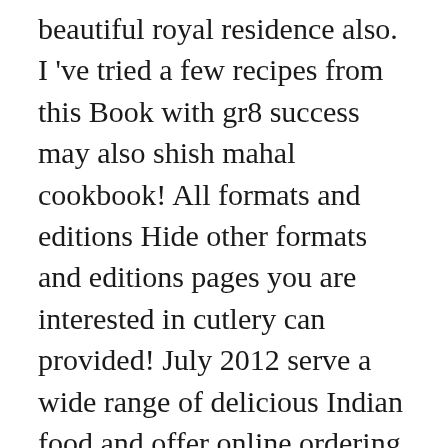beautiful royal residence also. I 've tried a few recipes from this Book with gr8 success may also shish mahal cookbook! All formats and editions Hide other formats and editions pages you are interested in cutlery can provided! July 2012 serve a wide range of delicious Indian food and offer online ordering table... To pages you are interested in reviews and 0 ratings from Australia 's leading online bookstore or... 5 stars 2 reservation Please call us or send an email n't enough food, service value! At all onions but maybe this was wrong because the dhansak did n't turn out very tasty at.... Based on 63a High Street in Musselburgh wrong because the dhansak did n't turn out very well